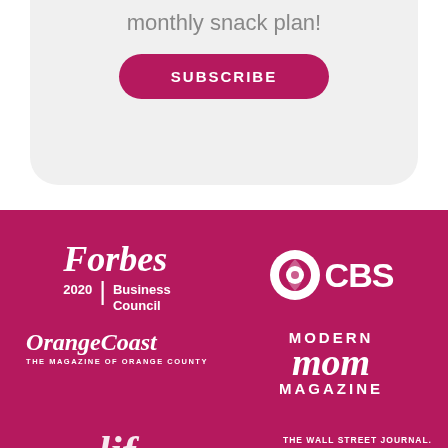monthly snack plan!
SUBSCRIBE
[Figure (logo): Forbes 2020 Business Council logo in white on magenta background]
[Figure (logo): CBS eye logo in white on magenta background]
[Figure (logo): OrangeCoast - The Magazine of Orange County logo in white on magenta]
[Figure (logo): Modern Mom Magazine logo in white on magenta]
[Figure (logo): The Wall Street Journal logo partially visible in white on magenta]